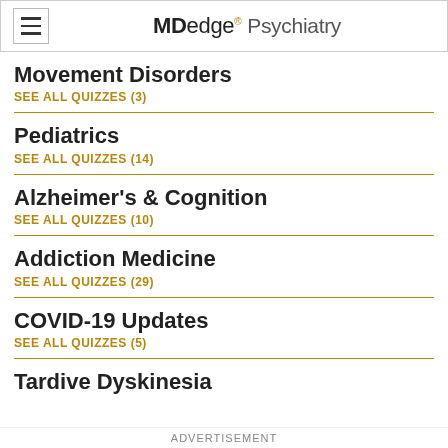MDedge® Psychiatry
Movement Disorders
SEE ALL QUIZZES (3)
Pediatrics
SEE ALL QUIZZES (14)
Alzheimer's & Cognition
SEE ALL QUIZZES (10)
Addiction Medicine
SEE ALL QUIZZES (29)
COVID-19 Updates
SEE ALL QUIZZES (5)
Tardive Dyskinesia
ADVERTISEMENT